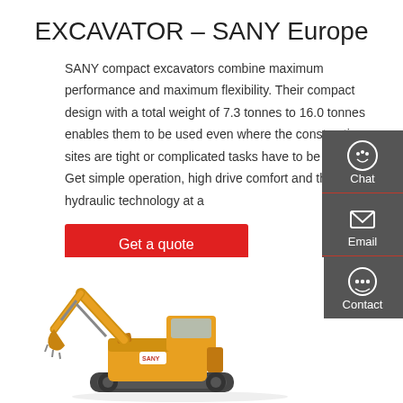EXCAVATOR – SANY Europe
SANY compact excavators combine maximum performance and maximum flexibility. Their compact design with a total weight of 7.3 tonnes to 16.0 tonnes enables them to be used even where the construction sites are tight or complicated tasks have to be mastered. Get simple operation, high drive comfort and the latest hydraulic technology at a
Get a quote
[Figure (infographic): Dark grey sidebar with Chat, Email, and Contact icons and labels on the right side of the page]
[Figure (photo): Orange SANY compact excavator shown from the side with arm extended, on white background]